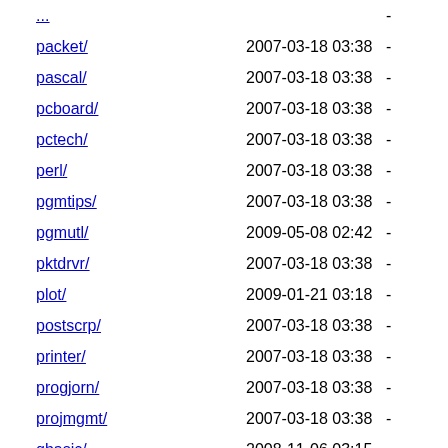packet/ 2007-03-18 03:38 -
pascal/ 2007-03-18 03:38 -
pcboard/ 2007-03-18 03:38 -
pctech/ 2007-03-18 03:38 -
perl/ 2007-03-18 03:38 -
pgmtips/ 2007-03-18 03:38 -
pgmutl/ 2009-05-08 02:42 -
pktdrvr/ 2007-03-18 03:38 -
plot/ 2009-01-21 03:18 -
postscrp/ 2007-03-18 03:38 -
printer/ 2007-03-18 03:38 -
progjorn/ 2007-03-18 03:38 -
projmgmt/ 2007-03-18 03:38 -
qbasic/ 2008-11-06 03:15 -
qmodem/ 2007-03-18 03:38 -
qtrdeck/ 2007-03-18 03:38 -
ramdisk/ 2007-03-18 03:38 -